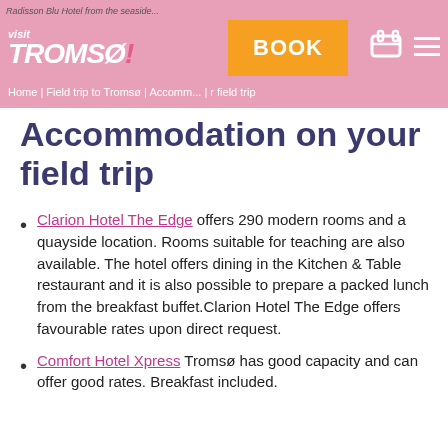Visit Tromsø | Home | Field trip to Tromsø | Accommodation on your field trip
Accommodation on your field trip
Clarion Hotel The Edge offers 290 modern rooms and a quayside location. Rooms suitable for teaching are also available. The hotel offers dining in the Kitchen & Table restaurant and it is also possible to prepare a packed lunch from the breakfast buffet.Clarion Hotel The Edge offers favourable rates upon direct request.
Comfort Hotel Xpress Tromsø has good capacity and can offer good rates. Breakfast included.